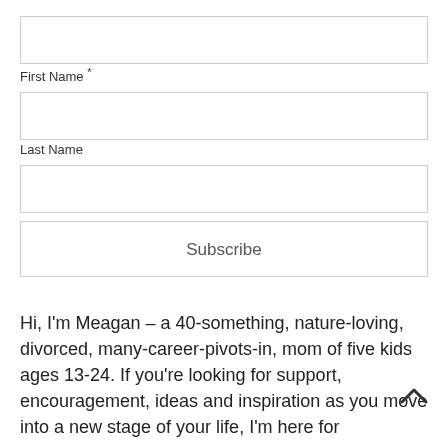[Figure (other): First Name input field (empty text box)]
First Name *
[Figure (other): Last Name input field (empty text box)]
Last Name
[Figure (other): Email input field (empty text box)]
[Figure (other): Subscribe button]
Hi, I'm Meagan – a 40-something, nature-loving, divorced, many-career-pivots-in, mom of five kids ages 13-24. If you're looking for support, encouragement, ideas and inspiration as you move into a new stage of your life, I'm here for